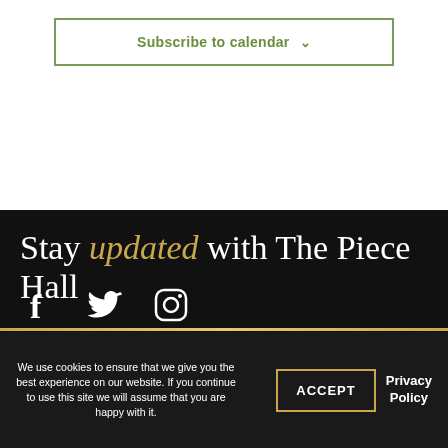Subscribe to calendar ∨
Stay updated with The Piece Hall
[Figure (infographic): Social media icons: Facebook, Twitter, Instagram on dark background]
We use cookies to ensure that we give you the best experience on our website. If you continue to use this site we will assume that you are happy with it.
ACCEPT
Privacy Policy